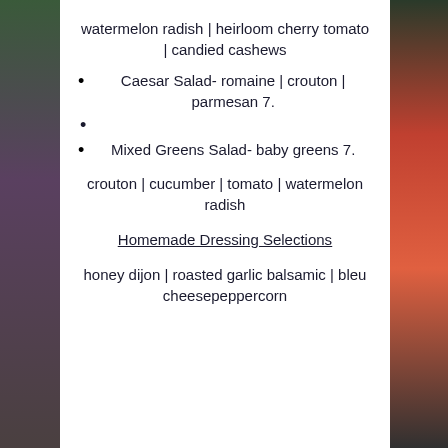watermelon radish | heirloom cherry tomato | candied cashews
Caesar Salad- romaine | crouton | parmesan 7.
Mixed Greens Salad- baby greens 7.
crouton | cucumber | tomato | watermelon radish
Homemade Dressing Selections
honey dijon | roasted garlic balsamic | bleu cheesepeppercorn